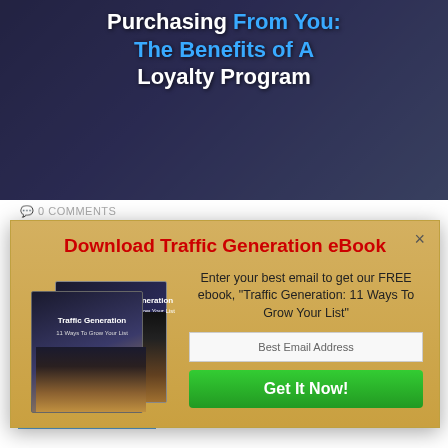Purchasing From You: The Benefits of A Loyalty Program
[Figure (screenshot): Hero banner with text 'Purchasing From You: The Benefits of A Loyalty Program' overlaid on a dark blue background with a person in the background]
[Figure (screenshot): Modal popup with golden/tan background titled 'Download Traffic Generation eBook', showing two book covers for 'Traffic Generation: 11 Ways To Grow Your List', an email input field, and a green 'Get It Now!' button]
0 COMMENTS
It's often way more effort and expense to find new customers than to sell again to your current customers. So how can you persuade your…
READ MORE →